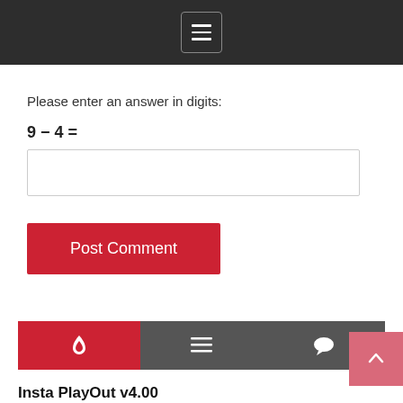[Menu icon]
Please enter an answer in digits:
[Text input box]
Post Comment
[Figure (infographic): Tab bar with three icons: flame/fire icon (red), list/menu icon (gray), comment bubble icon (gray)]
Insta PlayOut v4.00
January 9, 2019
Wondershare Dr.Fone Toolkit for iOS and Android v9.9.1.34